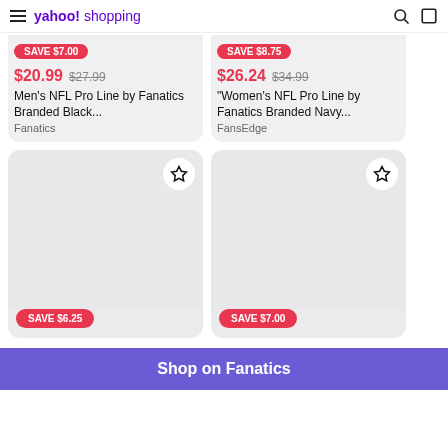yahoo! shopping
SAVE $7.00 | $20.99 $27.99 | Men's NFL Pro Line by Fanatics Branded Black... | Fanatics
SAVE $8.75 | $26.24 $34.99 | "Women's NFL Pro Line by Fanatics Branded Navy... | FansEdge
[Figure (other): Product card placeholder image with star/bookmark icon, SAVE $6.25 badge]
[Figure (other): Product card placeholder image with star/bookmark icon, SAVE $7.00 badge]
Shop on Fanatics